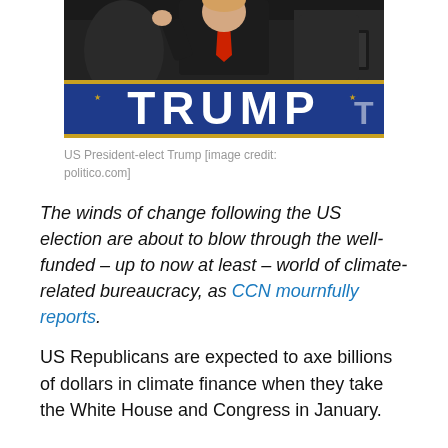[Figure (photo): Photo of US President-elect Trump at a campaign podium with a blue 'TRUMP' sign, wearing a red tie and dark suit, with another person partially visible beside him.]
US President-elect Trump [image credit: politico.com]
The winds of change following the US election are about to blow through the well-funded – up to now at least – world of climate-related bureaucracy, as CCN mournfully reports.
US Republicans are expected to axe billions of dollars in climate finance when they take the White House and Congress in January.